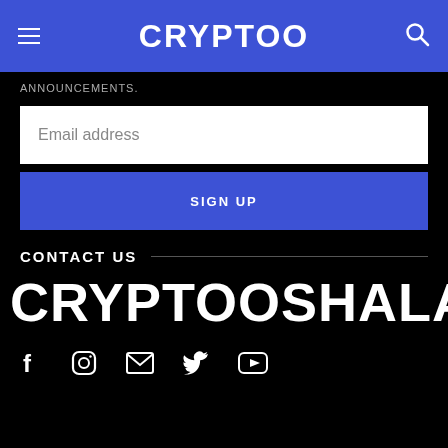CRYPTOO
ANNOUNCEMENTS.
Email address
SIGN UP
CONTACT US
CRYPTOOSHALA
[Figure (other): Social media icons row: Facebook, Instagram, Email, Twitter, YouTube]